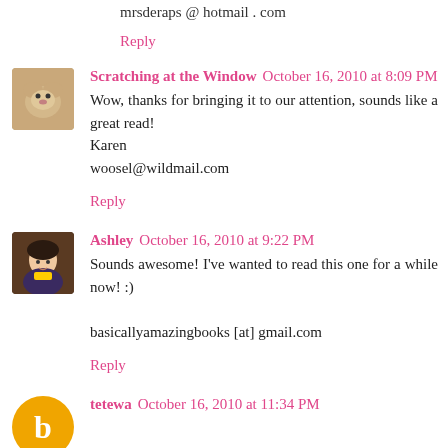mrsderaps @ hotmail . com
Reply
Scratching at the Window  October 16, 2010 at 8:09 PM
Wow, thanks for bringing it to our attention, sounds like a great read!
Karen
woosel@wildmail.com
Reply
Ashley  October 16, 2010 at 9:22 PM
Sounds awesome! I've wanted to read this one for a while now! :)

basicallyamazingbooks [at] gmail.com
Reply
tetewa  October 16, 2010 at 11:34 PM